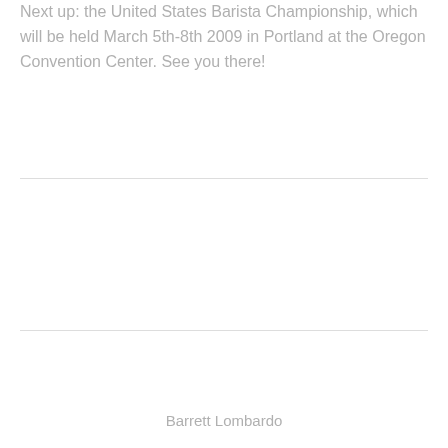Next up: the United States Barista Championship, which will be held March 5th-8th 2009 in Portland at the Oregon Convention Center. See you there!
Barrett Lombardo